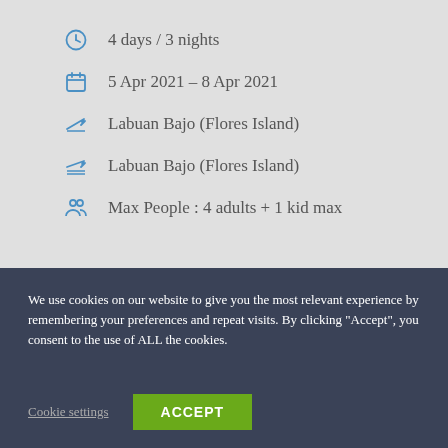4 days / 3 nights
5 Apr 2021 - 8 Apr 2021
Labuan Bajo (Flores Island)
Labuan Bajo (Flores Island)
Max People : 4 adults + 1 kid max
We use cookies on our website to give you the most relevant experience by remembering your preferences and repeat visits. By clicking “Accept”, you consent to the use of ALL the cookies.
Cookie settings
ACCEPT